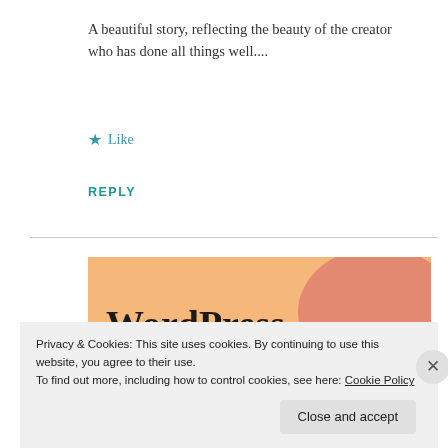A beautiful story, reflecting the beauty of the creator who has done all things well....
★ Like
REPLY
[Figure (illustration): WordPress advertisement banner with text 'WordPress in the back.' on a warm peach/orange background with soft blob shapes in pink and lavender]
Privacy & Cookies: This site uses cookies. By continuing to use this website, you agree to their use. To find out more, including how to control cookies, see here: Cookie Policy
Close and accept